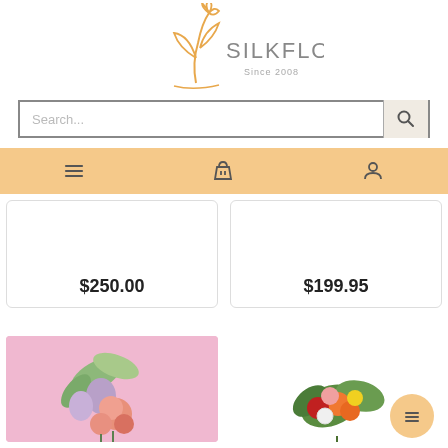[Figure (logo): SilkFlora logo with floral illustration and text 'SILKFLORA Since 2008']
[Figure (screenshot): Search bar with placeholder text 'Search...' and a search icon button]
[Figure (screenshot): Navigation bar with hamburger menu icon, basket icon, and user icon on peach/orange background]
$250.00
$199.95
[Figure (photo): Floral arrangement with pink roses, purple and green flowers on pink background]
[Figure (photo): Colorful floral arrangement with orange, red, pink and yellow flowers]